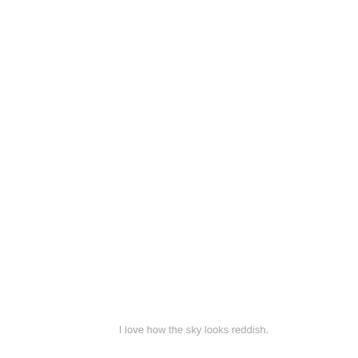I love how the sky looks reddish.